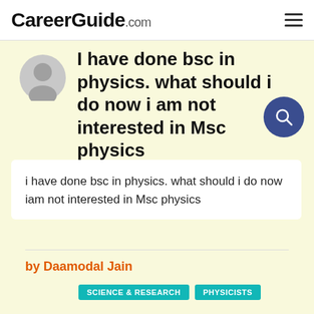CareerGuide.com
I have done bsc in physics. what should i do now i am not interested in Msc physics
i have done bsc in physics. what should i do now iam not interested in Msc physics
by Daamodal Jain
SCIENCE & RESEARCH   PHYSICISTS